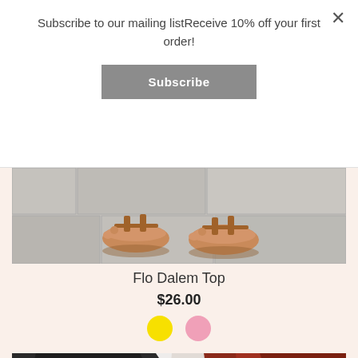Subscribe to our mailing listReceive 10% off your first order!
Subscribe
[Figure (photo): Close-up of feet wearing brown leather flat sandals on a stone tile pavement]
Flo Dalem Top
$26.00
[Figure (illustration): Two color swatches: yellow circle and pink circle]
[Figure (photo): Folded clothing items in black, white/cream, and rust/red colors on a light background]